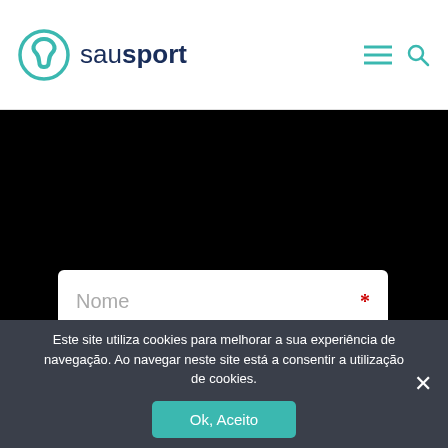[Figure (logo): Sausport logo with teal pinwheel icon and dark blue text 'sausport']
[Figure (screenshot): Form fields on black background: Nome (Name) and Email input fields with red asterisks]
Este site utiliza cookies para melhorar a sua experiência de navegação. Ao navegar neste site está a consentir a utilização de cookies.